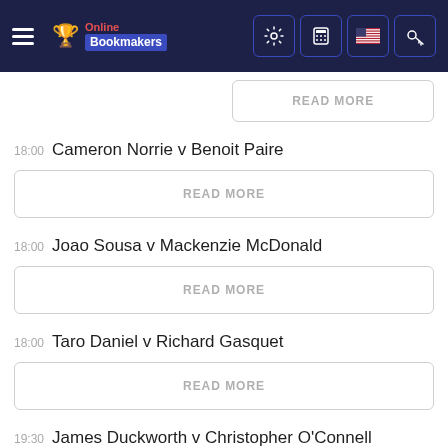Online Bookmakers
READ MORE
18:00 Cameron Norrie v Benoit Paire
READ MORE
18:00 Joao Sousa v Mackenzie McDonald
READ MORE
18:00 Taro Daniel v Richard Gasquet
READ MORE
19:30 James Duckworth v Christopher O'Connell